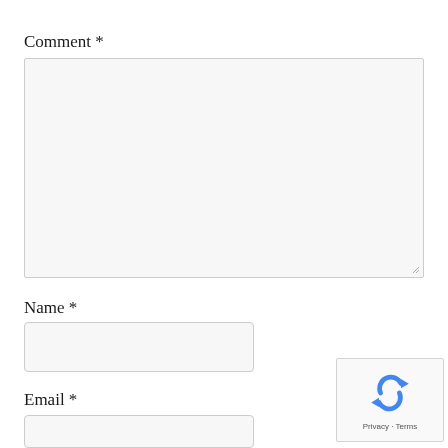Comment *
[Figure (other): Empty comment textarea input field with light gray background and resize handle in bottom-right corner]
Name *
[Figure (other): Empty name input field with light gray background and rounded corners]
Email *
[Figure (other): Empty email input field with light gray background and rounded corners]
[Figure (other): Google reCAPTCHA widget with rotating arrows logo and Privacy - Terms text at bottom]